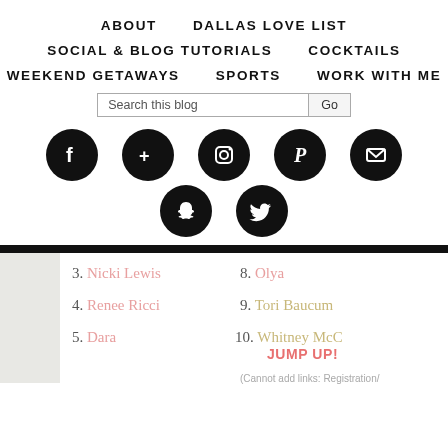ABOUT   DALLAS LOVE LIST
SOCIAL & BLOG TUTORIALS   COCKTAILS
WEEKEND GETAWAYS   SPORTS   WORK WITH ME
[Figure (screenshot): Blog navigation menu with social icons: Facebook, Google+, Instagram, Pinterest, Email, Snapchat, Twitter]
3. Nicki Lewis
4. Renee Ricci
5. Dara
8. Olya
9. Tori Baucum
10. Whitney McC JUMP UP!
(Cannot add links: Registration/